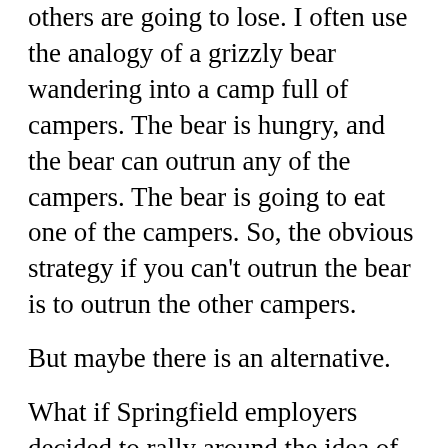others are going to lose. I often use the analogy of a grizzly bear wandering into a camp full of campers. The bear is hungry, and the bear can outrun any of the campers. The bear is going to eat one of the campers. So, the obvious strategy if you can't outrun the bear is to outrun the other campers.
But maybe there is an alternative.
What if Springfield employers decided to rally around the idea of making Springfield an unusually amazing place to work?
Imagine for a minute a community that is known for innovative and engaging employment practices. Springfield could become a place where workers see the best benefits packages, the best working